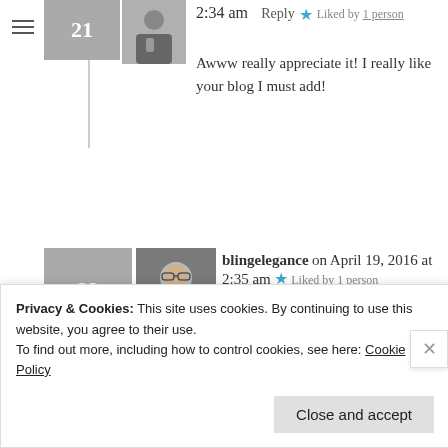2:34 am   Reply ★ Liked by 1 person
Awww really appreciate it! I really like your blog I must add!
blingelegance on April 19, 2016 at 2:35 am ★ Liked by 1 person
Glad you're enjoying it 🙂
Liz Mays on April 19, 2016 at 12:16
Privacy & Cookies: This site uses cookies. By continuing to use this website, you agree to their use. To find out more, including how to control cookies, see here: Cookie Policy
Close and accept